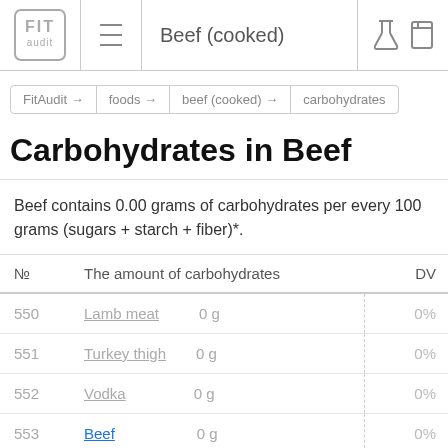FIT audit  ≡  Beef (cooked)
FitAudit → foods → beef (cooked) → carbohydrates
Carbohydrates in Beef
Beef contains 0.00 grams of carbohydrates per every 100 grams (sugars + starch + fiber)*.
| № | The amount of carbohydrates | DV |
| --- | --- | --- |
| 550 | Lamb meat | 0 g | 0% |
| 551 | Turkey thigh | 0 g | 0% |
| 552 | Vodka | 0 g | 0% |
| 553 | Beef | 0 g | 0% |